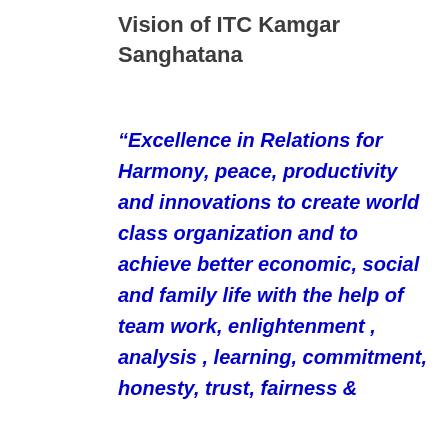Vision of ITC Kamgar Sanghatana
“Excellence in Relations for Harmony, peace, productivity and innovations to create world class organization and to achieve better economic, social and family life with the help of team work, enlightenment , analysis , learning, commitment, honesty, trust, fairness &